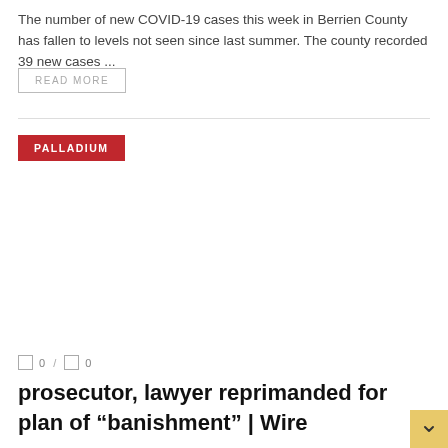The number of new COVID-19 cases this week in Berrien County has fallen to levels not seen since last summer. The county recorded 39 new cases ...
READ MORE
PALLADIUM
0  /  0
prosecutor, lawyer reprimanded for plan of “banishment” | Wire